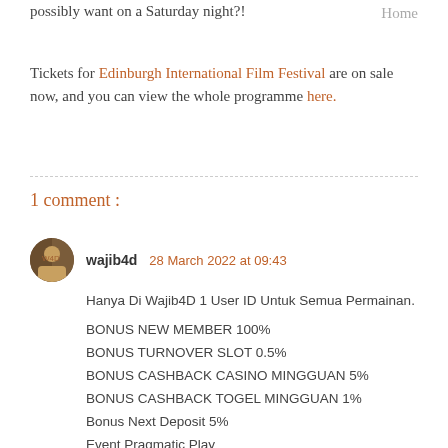possibly want on a Saturday night?!
Tickets for Edinburgh International Film Festival are on sale now, and you can view the whole programme here.
1 comment :
wajib4d  28 March 2022 at 09:43
Hanya Di Wajib4D 1 User ID Untuk Semua Permainan.

BONUS NEW MEMBER 100%
BONUS TURNOVER SLOT 0.5%
BONUS CASHBACK CASINO MINGGUAN 5%
BONUS CASHBACK TOGEL MINGGUAN 1%
Bonus Next Deposit 5%
Event Pragmatic Play
SCATTER + BUYSPIN / FREESPIN